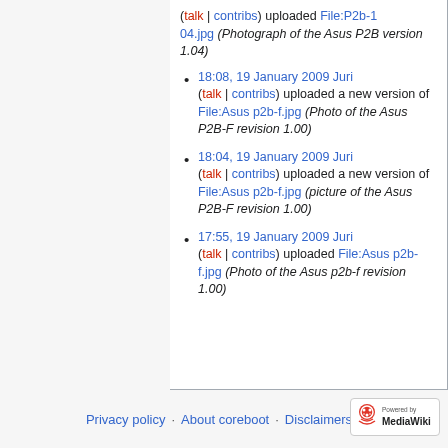(talk | contribs) uploaded File:P2b-104.jpg (Photograph of the Asus P2B version 1.04)
18:08, 19 January 2009 Juri (talk | contribs) uploaded a new version of File:Asus p2b-f.jpg (Photo of the Asus P2B-F revision 1.00)
18:04, 19 January 2009 Juri (talk | contribs) uploaded a new version of File:Asus p2b-f.jpg (picture of the Asus P2B-F revision 1.00)
17:55, 19 January 2009 Juri (talk | contribs) uploaded File:Asus p2b-f.jpg (Photo of the Asus p2b-f revision 1.00)
Privacy policy   About coreboot   Disclaimers